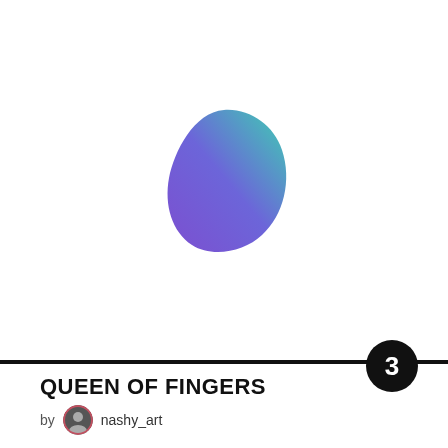[Figure (illustration): Abstract blob shape with gradient from blue-purple at bottom-left to teal-green at top-right, centered on white background]
QUEEN OF FINGERS
by nashy_art